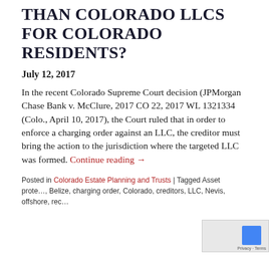THAN COLORADO LLCS FOR COLORADO RESIDENTS?
July 12, 2017
In the recent Colorado Supreme Court decision (JPMorgan Chase Bank v. McClure, 2017 CO 22, 2017 WL 1321334 (Colo., April 10, 2017), the Court ruled that in order to enforce a charging order against an LLC, the creditor must bring the action to the jurisdiction where the targeted LLC was formed. Continue reading →
Posted in Colorado Estate Planning and Trusts | Tagged Asset protection, Belize, charging order, Colorado, creditors, LLC, Nevis, offshore, rec…